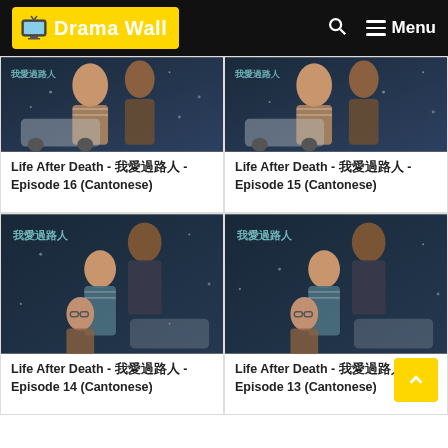Drama Wall — Menu
[Figure (screenshot): Drama poster for Life After Death - 我愛過路人 - Episode 16 (Cantonese), showing two people with a car in the background]
Life After Death - 我愛過路人 - Episode 16 (Cantonese)
[Figure (screenshot): Drama poster for Life After Death - 我愛過路人 - Episode 15 (Cantonese), showing two people with a car in the background]
Life After Death - 我愛過路人 - Episode 15 (Cantonese)
[Figure (screenshot): Drama poster for Life After Death - 我愛過路人 - Episode 14 (Cantonese), showing three people including woman in glasses]
Life After Death - 我愛過路人 - Episode 14 (Cantonese)
[Figure (screenshot): Drama poster for Life After Death - 我愛過路人 - Episode 13 (Cantonese), showing three people including woman in glasses]
Life After Death - 我愛過路人 - Episode 13 (Cantonese)